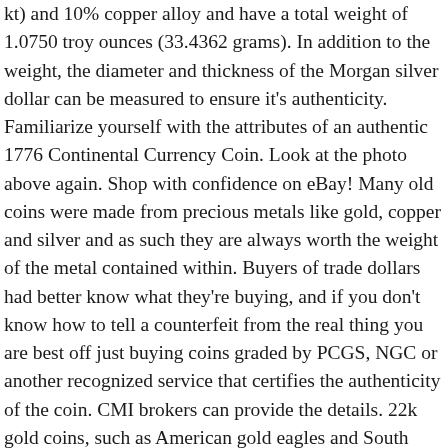kt) and 10% copper alloy and have a total weight of 1.0750 troy ounces (33.4362 grams). In addition to the weight, the diameter and thickness of the Morgan silver dollar can be measured to ensure it's authenticity. Familiarize yourself with the attributes of an authentic 1776 Continental Currency Coin. Look at the photo above again. Shop with confidence on eBay! Many old coins were made from precious metals like gold, copper and silver and as such they are always worth the weight of the metal contained within. Buyers of trade dollars had better know what they're buying, and if you don't know how to tell a counterfeit from the real thing you are best off just buying coins graded by PCGS, NGC or another recognized service that certifies the authenticity of the coin. CMI brokers can provide the details. 22k gold coins, such as American gold eagles and South African gold krugerrands, weigh 33.93 grams. ( Its gold content of 0.9675 troy oz (30.0926 grams) was worth $20 at the 1849 official price of $20.67/oz.) The wrong reverse hub type was used on this particular coin. In addition, you can tell the denomination of the coin by the 'R' marking: R = 1/2 real, 1R = 1 real, 2R = 2 reales, 4R, and 8R. How to Spot a Fake 1776 Continental Currency Coin. It...